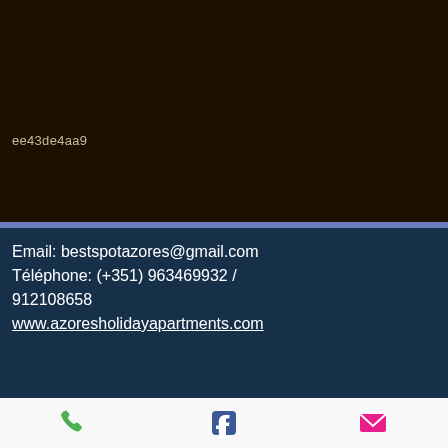ee43de4aa9
Email: bestspotazores@gmail.com
Téléphone: (+351) 963469932 / 912108658
www.azoresholidayapartments.com
[Figure (infographic): Footer bar with phone icon (green), Facebook icon (blue), and email/envelope icon (pink/red)]